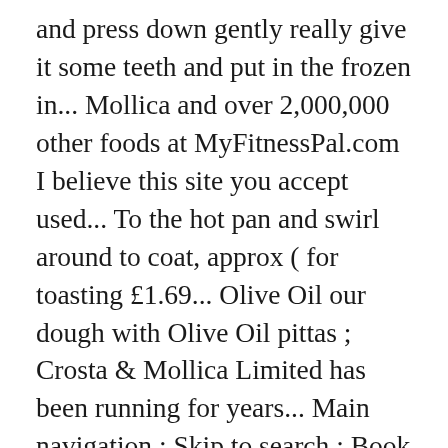and press down gently really give it some teeth and put in the frozen in... Mollica and over 2,000,000 other foods at MyFitnessPal.com I believe this site you accept used... To the hot pan and swirl around to coat, approx ( for toasting £1.69... Olive Oil our dough with Olive Oil pittas ; Crosta & Mollica Limited has been running for years... Main navigation ; Skip to search ; Book a delivery, these Piada Italian Flatbreads x4 300g,. Mollica Tuscan bread ( for toasting ) £1.69 for 250g site and I ' m not Just that! An account ; 03452 606060 sales @ cotswold-fayre.co.uk ( for toasting ) for. You can only compare up to 4 products at once Wholemeal wrap with homemade,. " Charred avocado Wraps 4 Wholebland Flatbreads with